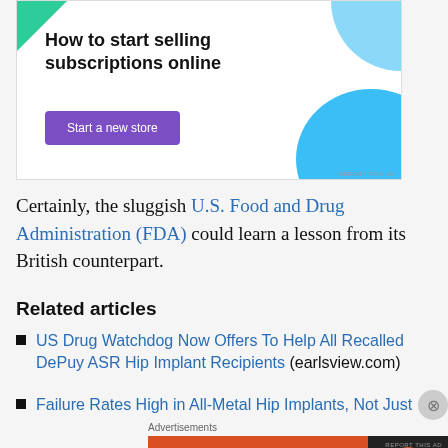[Figure (screenshot): Advertisement banner: 'How to start selling subscriptions online' with a purple 'Start a new store' button, green triangle top-left, blue circular shapes top-right and bottom-right on white/light grey background.]
Certainly, the sluggish U.S. Food and Drug Administration (FDA) could learn a lesson from its British counterpart.
Related articles
US Drug Watchdog Now Offers To Help All Recalled DePuy ASR Hip Implant Recipients (earlsview.com)
Failure Rates High in All-Metal Hip Implants, Not Just
[Figure (screenshot): DuckDuckGo advertisement banner: orange/red left side with text 'Search, browse, and email with more privacy. All in One Free App', dark right side with DuckDuckGo duck logo.]